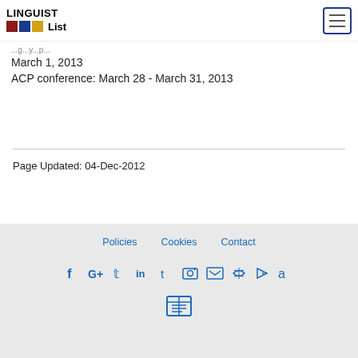LINGUIST List
March 1, 2013
ACP conference: March 28 - March 31, 2013
Page Updated: 04-Dec-2012
Policies  Cookies  Contact